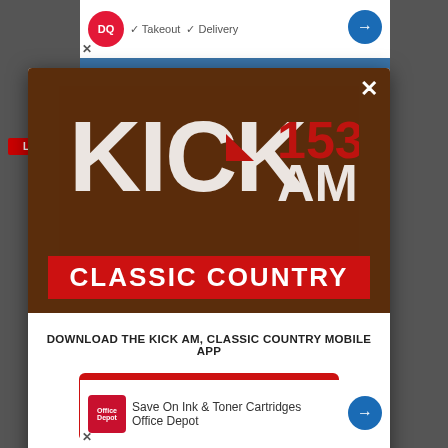[Figure (screenshot): KICK 1530 AM Classic Country radio station mobile app download modal popup on a website. The modal shows the KICK 1530 AM Classic Country logo on a brown background, with text 'DOWNLOAD THE KICK AM, CLASSIC COUNTRY MOBILE APP', a red button 'GET OUR FREE MOBILE APP', and 'Also listen on: amazon alexa' text with Alexa icon. Background shows advertisements for Dairy Queen and Office Depot.]